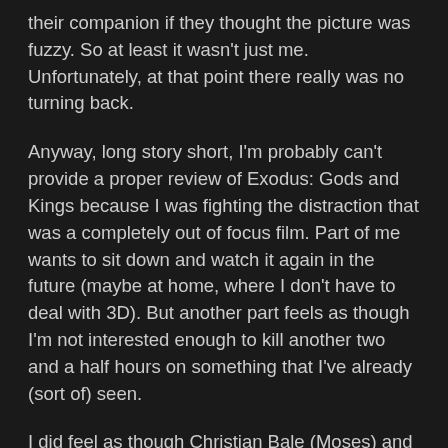their companion if they thought the picture was fuzzy. So at least it wasn't just me.  Unfortunately, at that point there really was no turning back.
Anyway, long story short, I'm probably can't provide a proper review of Exodus: Gods and Kings because I was fighting the distraction that was a completely out of focus film. Part of me wants to sit down and watch it again in the future (maybe at home, where I don't have to deal with 3D). But another part feels as though I'm not interested enough to kill another two and a half hours on something that I've already (sort of) seen.
I did feel as though Christian Bale (Moses) and Joel Edgerton (Ramses) were good in their roles. John Turturro was a bit of a surprise to me as Seti, but I enjoyed his involvement in the film as well. Sigourney Weaver and Ben Kingsley also have small supporting roles and there are a couple other recognizable faces including Aaron Paul, Ben Mendelsohn, and Ewen Bremner. I'm not knowledgeable enough to speak on